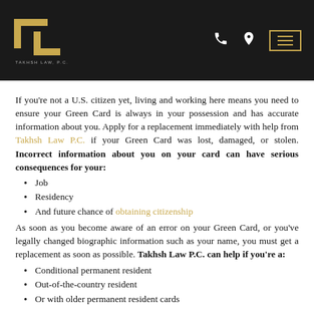Takhsh Law, P.C. — navigation header with logo, phone, location, and menu icons
If you're not a U.S. citizen yet, living and working here means you need to ensure your Green Card is always in your possession and has accurate information about you. Apply for a replacement immediately with help from Takhsh Law P.C. if your Green Card was lost, damaged, or stolen. Incorrect information about you on your card can have serious consequences for your:
Job
Residency
And future chance of obtaining citizenship
As soon as you become aware of an error on your Green Card, or you've legally changed biographic information such as your name, you must get a replacement as soon as possible. Takhsh Law P.C. can help if you're a:
Conditional permanent resident
Out-of-the-country resident
Or with older permanent resident cards